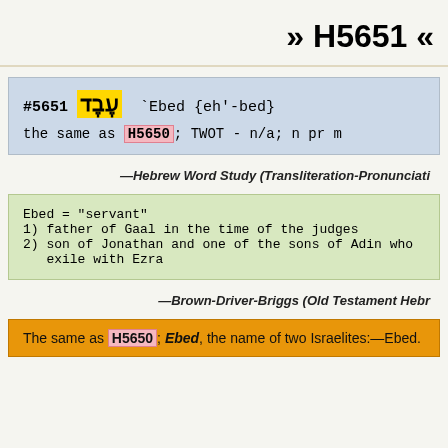» H5651 «
#5651 עֶבֶד `Ebed {eh'-bed} the same as H5650; TWOT - n/a; n pr m
—Hebrew Word Study (Transliteration-Pronunciation-Etymology-Grammar)
Ebed = "servant"
1) father of Gaal in the time of the judges
2) son of Jonathan and one of the sons of Adin who returned from exile with Ezra
—Brown-Driver-Briggs (Old Testament Hebrew Lexicon)
The same as H5650; Ebed, the name of two Israelites:—Ebed.